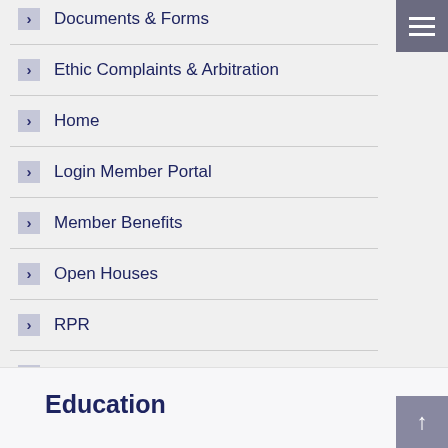Documents & Forms
Ethic Complaints & Arbitration
Home
Login Member Portal
Member Benefits
Open Houses
RPR
Upcoming Meetings
Education